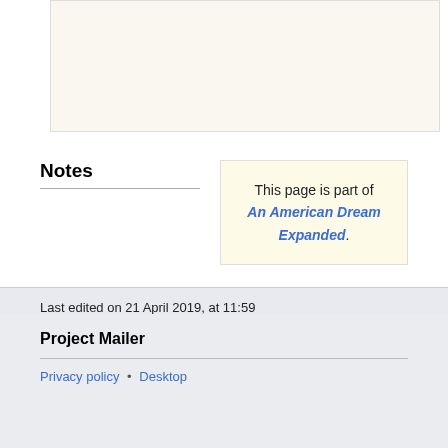[Figure (other): Blank cream/off-white image area at the top of the page]
Notes
This page is part of An American Dream Expanded.
Last edited on 21 April 2019, at 11:59
Project Mailer
Privacy policy • Desktop